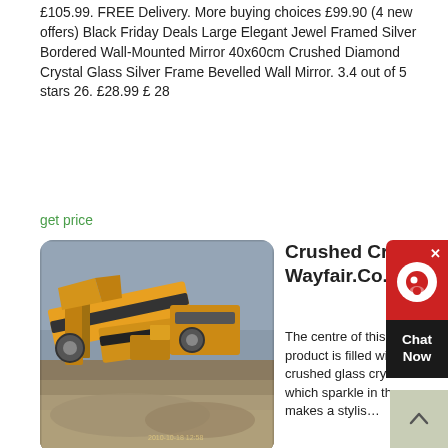£105.99. FREE Delivery. More buying choices £99.90 (4 new offers) Black Friday Deals Large Elegant Jewel Framed Silver Bordered Wall-Mounted Mirror 40x60cm Crushed Diamond Crystal Glass Silver Frame Bevelled Wall Mirror. 3.4 out of 5 stars 26. £28.99 £ 28
get price
[Figure (photo): Photo of large industrial mining/crushing machinery (orange conveyor belt system) at a gravel/rock processing site outdoors under a cloudy sky.]
Crushed Cryst… Wayfair.Co.U…
The centre of this product is filled with crushed glass crystals which sparkle in the… makes a stylis… accessory for the diner or side table and would make a lovely gift for a wedding, anniversary or Christmas. Country of Origin: China; Overall: 10 Centimetres Thickness x 10cm W x 4cm D ; Overall Product Weight: 0.5kg; Beautiful. Geir. Anonymous. 2021-05-10 11:20:53. Opens in a new